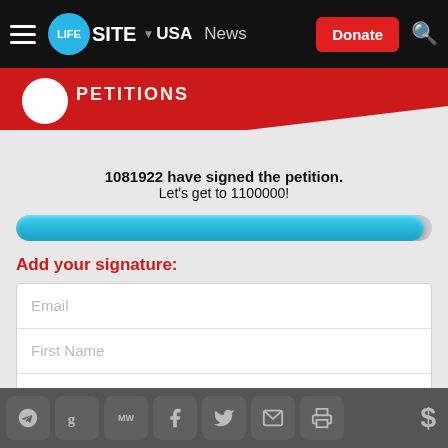LifeSite · USA · News | Donate
[Figure (screenshot): LifeSite petitions red banner with partial logo and text visible]
1081922 have signed the petition. Let's get to 1100000!
[Figure (infographic): Blue progress bar nearly full]
Add your signature:
Email
First Name
Last Name
USA / State...
Social sharing icons: Telegram, Gab, MeWe, Facebook, Twitter, Email, Print | Donate $